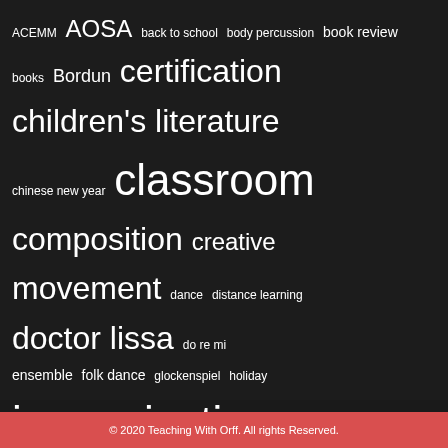[Figure (infographic): Tag cloud on dark background with words of varying sizes: ACEMM, AOSA, back to school, body percussion, book review, books, Bordun, certification, children's literature, chinese new year, classroom, composition, creative movement, dance, distance learning, doctor lissa, do re mi, ensemble, folk dance, glockenspiel, holiday, improvisation, instrument repair, hospital, lesson, lesson plan, levels, making it work, movement, orff, orff for adults, Orff Instruments, Orff Schulwerk, ostinati, ostinato, pentatonic, professional development, purposeful pathways, reading, recorder, rhythm, self-care, studio 49, summer, teacher education, teaching]
© 2020 Teaching With Orff. All rights Reserved.